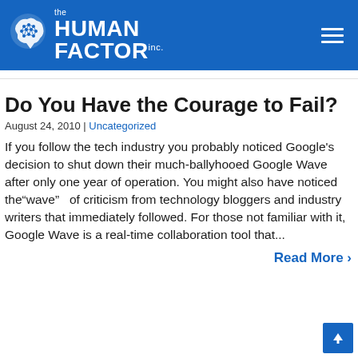the HUMAN FACTOR inc.
Do You Have the Courage to Fail?
August 24, 2010 | Uncategorized
If you follow the tech industry you probably noticed Google’s decision to shut down their much-ballyhooed Google Wave after only one year of operation. You might also have noticed the“wave”   of criticism from technology bloggers and industry writers that immediately followed. For those not familiar with it, Google Wave is a real-time collaboration tool that...
Read More ›